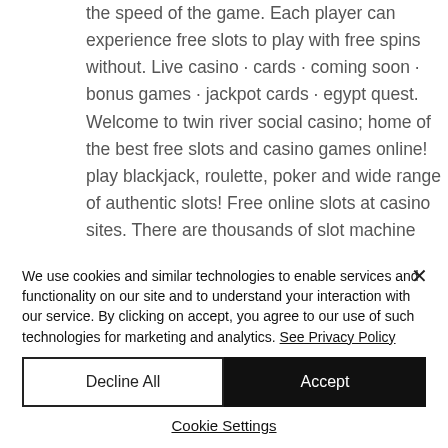the speed of the game. Each player can experience free slots to play with free spins without. Live casino · cards · coming soon · bonus games · jackpot cards · egypt quest. Welcome to twin river social casino; home of the best free slots and casino games online! play blackjack, roulette, poker and wide range of authentic slots! Free online slots at casino sites. There are thousands of slot machine games available online, and you can play many of them without spending a
We use cookies and similar technologies to enable services and functionality on our site and to understand your interaction with our service. By clicking on accept, you agree to our use of such technologies for marketing and analytics. See Privacy Policy
Decline All
Accept
Cookie Settings